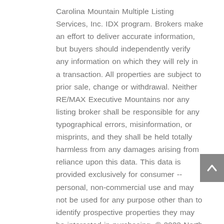Carolina Mountain Multiple Listing Services, Inc. IDX program. Brokers make an effort to deliver accurate information, but buyers should independently verify any information on which they will rely in a transaction. All properties are subject to prior sale, change or withdrawal. Neither RE/MAX Executive Mountains nor any listing broker shall be responsible for any typographical errors, misinformation, or misprints, and they shall be held totally harmless from any damages arising from reliance upon this data. This data is provided exclusively for consumer -- personal, non-commercial use and may not be used for any purpose other than to identify prospective properties they may be interested in purchasing. © 2022 North Carolina Mountain Multiple Listing